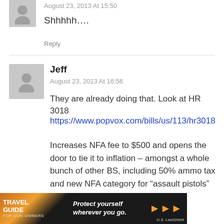August 23, 2013 At 15:50
Shhhhh….
Reply
Jeff
August 23, 2013 At 16:56
They are already doing that. Look at HR 3018
https://www.popvox.com/bills/us/113/hr3018
Increases NFA fee to $500 and opens the door to tie it to inflation – amongst a whole bunch of other BS, including 50% ammo tax and new NFA category for “assault pistols” i.e. AR/AK pistols.
Reply
[Figure (photo): Advertisement banner: Travel Guide for Gun Owners – Protect yourself wherever you go. U.S. LawShield.]